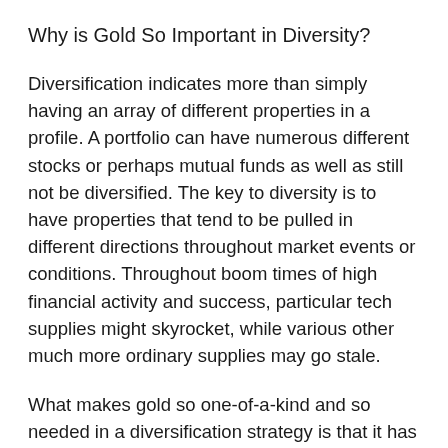Why is Gold So Important in Diversity?
Diversification indicates more than simply having an array of different properties in a profile. A portfolio can have numerous different stocks or perhaps mutual funds as well as still not be diversified. The key to diversity is to have properties that tend to be pulled in different directions throughout market events or conditions. Throughout boom times of high financial activity and success, particular tech supplies might skyrocket, while various other much more ordinary supplies may go stale.
What makes gold so one-of-a-kind and so needed in a diversification strategy is that it has a tendency to relocate the opposite